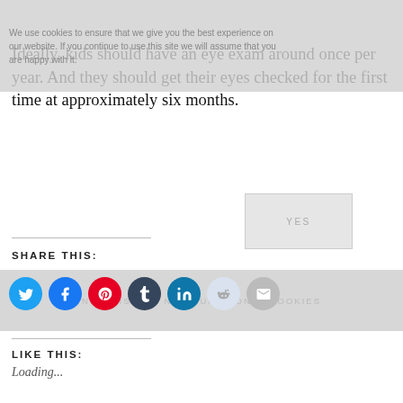We use cookies to ensure that we give you the best experience on our website. If you continue to use this site we will assume that you are happy with it.
Ideally, kids should have an eye exam around once per year. And they should get their eyes checked for the first time at approximately six months.
SHARE THIS:
[Figure (screenshot): Row of social sharing icon buttons: Twitter (blue circle), Facebook (blue circle), Pinterest (red circle), Tumblr (dark circle), LinkedIn (teal circle), Reddit (light blue circle), Email (gray circle)]
LIKE THIS:
Loading...
YOU MIGHT ALSO ENJOY READING
[Figure (photo): Black and white photo of a building exterior]
An Essential Guide on Monitoring Child's Health and